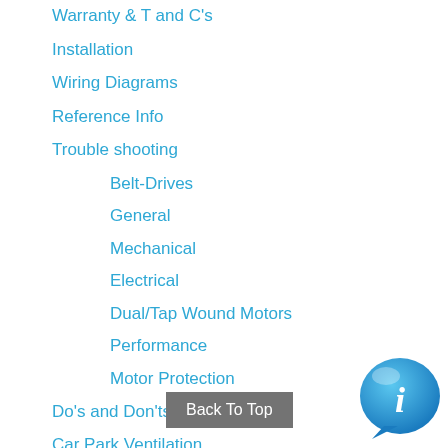Warranty & T and C's
Installation
Wiring Diagrams
Reference Info
Trouble shooting
Belt-Drives
General
Mechanical
Electrical
Dual/Tap Wound Motors
Performance
Motor Protection
Do's and Don'ts
Car Park Ventilation
Safe Area Smokevent & Hazardous
Contact Us
Cape Town
Johannesburg
[Figure (logo): Blue information speech bubble icon with letter i]